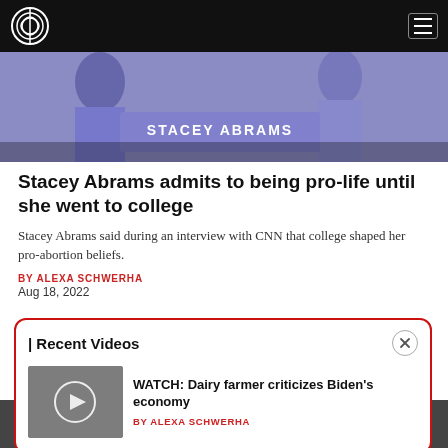Circa news website navigation bar
[Figure (photo): Hero image showing Stacey Abrams holding a campaign sign]
Stacey Abrams admits to being pro-life until she went to college
Stacey Abrams said during an interview with CNN that college shaped her pro-abortion beliefs.
BY ALEXA SCHWERHA
Aug 18, 2022
| Recent Videos
WATCH: Dairy farmer criticizes Biden's economy
BY ALEXA SCHWERHA